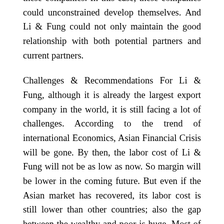these companies. In this case, these companies could unconstrained develop themselves. And Li &amp; Fung could not only maintain the good relationship with both potential partners and current partners.
Challenges &amp; Recommendations For Li &amp; Fung, although it is already the largest export company in the world, it is still facing a lot of challenges. According to the trend of international Economics, Asian Financial Crisis will be gone. By then, the labor cost of Li &amp; Fung will not be as low as now. So margin will be lower in the coming future. But even if the Asian market has recovered, its labor cost is still lower than other countries; also the gap between the wealthy and poor is huge. Most of people are living under average level, which will bring a low cost of labor.
Also Asian has a large population, which will involve a large number of rich people, whose price sensitivity is low and needs are high. They can purchase the products, which have been produced